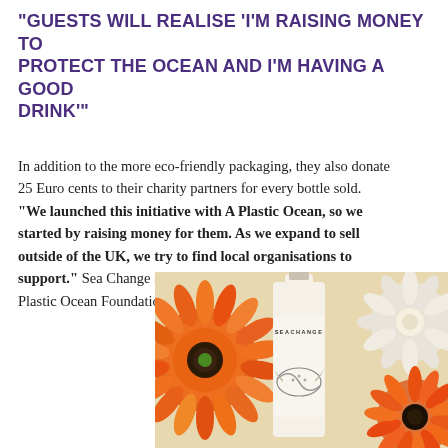“GUESTS WILL REALISE ‘I’M RAISING MONEY TO PROTECT THE OCEAN AND I’M HAVING A GOOD DRINK’”
In addition to the more eco-friendly packaging, they also donate 25 Euro cents to their charity partners for every bottle sold. “We launched this initiative with A Plastic Ocean, so we started by raising money for them. As we expand to sell outside of the UK, we try to find local organisations to support.” Sea Change supports Rendu Ocean in China and A Plastic Ocean Foundation in Hong Kong.
[Figure (photo): Photo of a Sea Change wine bottle with a manta ray illustration on the label, surrounded by orange and white flowers (gerbera daisies).]